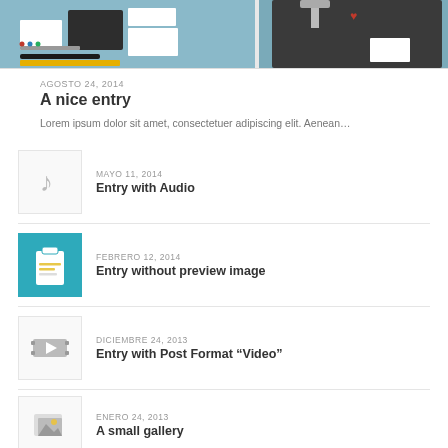[Figure (photo): Top featured post image showing flat lay of stationery/branding items on teal background, and dark panel on the right]
AGOSTO 24, 2014
A nice entry
Lorem ipsum dolor sit amet, consectetuer adipiscing elit. Aenean...
MAYO 11, 2014
Entry with Audio
FEBRERO 12, 2014
Entry without preview image
DICIEMBRE 24, 2013
Entry with Post Format “Video”
ENERO 24, 2013
A small gallery